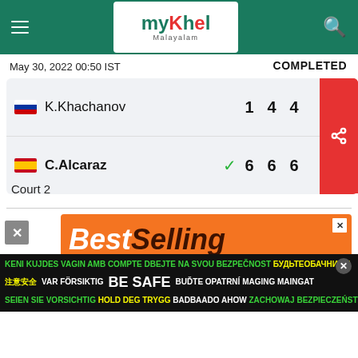myKhel Malayalam
May 30, 2022 00:50 IST
COMPLETED
| Player | Set1 | Set2 | Set3 |
| --- | --- | --- | --- |
| K.Khachanov | 1 | 4 | 4 |
| C.Alcaraz | 6 | 6 | 6 |
Court 2
[Figure (screenshot): BestSelling advertisement — orange background with text 'BestSelling Our Most Popular Products – Updated Weekly!' and product icons]
KENI KUJDES  VAGIN AMB COMPTE  DBEJTE NA SVOU BEZPEČNOST  БУДЬТЕОБАЧНИМИ  注意安全  VAR FÖRSIKTIG  BE SAFE  BUĎTE OPATRNÍ MAGING MAINGAT  SEIEN SIE VORSICHTIG  HOLD DEG TRYGG  BADBAADO AHOW  ZACHOWAJ BEZPIECZEŃSTWO